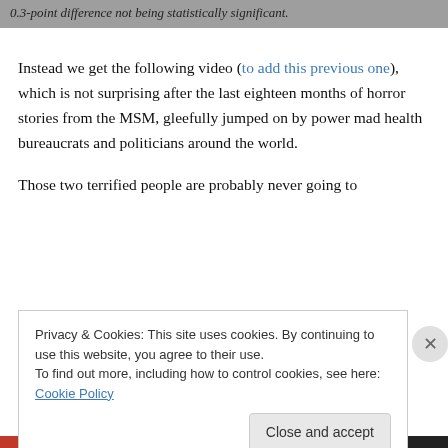0.3-point difference not being statistically significant.
Instead we get the following video (to add this previous one), which is not surprising after the last eighteen months of horror stories from the MSM, gleefully jumped on by power mad health bureaucrats and politicians around the world.
Those two terrified people are probably never going to
Privacy & Cookies: This site uses cookies. By continuing to use this website, you agree to their use.
To find out more, including how to control cookies, see here: Cookie Policy
Close and accept